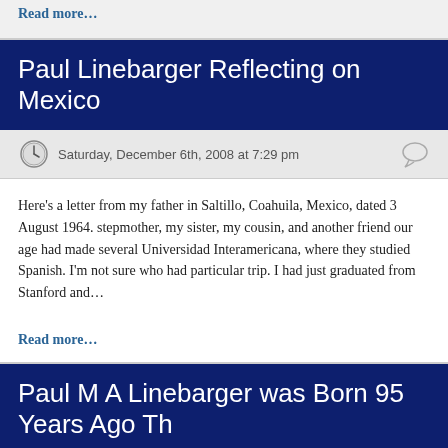Read more…
Paul Linebarger Reflecting on Mexico
Saturday, December 6th, 2008 at 7:29 pm
Here's a letter from my father in Saltillo, Coahuila, Mexico, dated 3 August 1964. stepmother, my sister, my cousin, and another friend our age had made several Universidad Interamericana, where they studied Spanish. I'm not sure who had particular trip. I had just graduated from Stanford and…
Read more…
Paul M A Linebarger was Born 95 Years Ago Th
Saturday, November 1st, 2008 at 4:17 pm
On July 11 of this year, I was deep into the total makeover of cordwainer-smith.c well into the morning that I did a bit of math and realized that since my father wa was 95 years ago. Since he died so young, in his 50s, Tweet